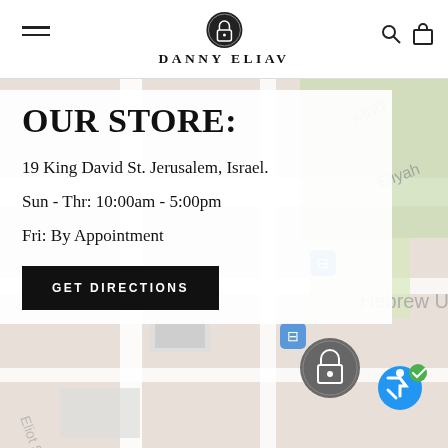DANNY ELIAV
[Figure (map): Google Maps screenshot showing the area around 19 King David St., Jerusalem, Israel, with street labels including King, Eliyahu, Hebrew University, Eldan, and transit icons visible.]
OUR STORE:
19 King David St. Jerusalem, Israel.
Sun - Thr: 10:00am - 5:00pm
Fri: By Appointment
GET DIRECTIONS